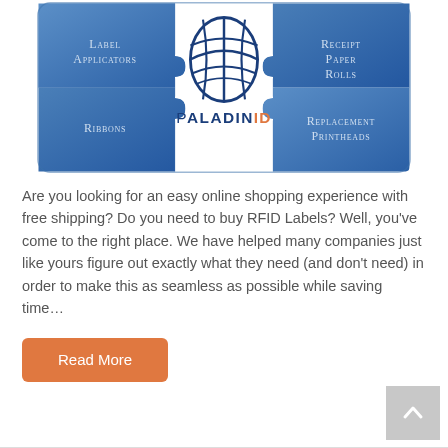[Figure (illustration): PaladinID logo on a blue puzzle piece graphic showing four interlocking pieces labeled: Label Applicators (top-left), Receipt Paper Rolls (top-right), Ribbons (bottom-left), Replacement Printheads (bottom-right). Center piece has the PaladinID logo with blue striped globe icon.]
Are you looking for an easy online shopping experience with free shipping? Do you need to buy RFID Labels? Well, you've come to the right place. We have helped many companies just like yours figure out exactly what they need (and don't need) in order to make this as seamless as possible while saving time...
Read More